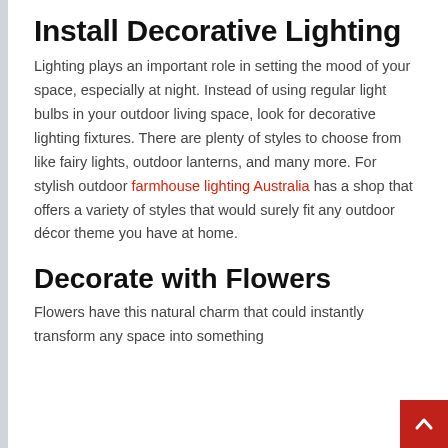Install Decorative Lighting
Lighting plays an important role in setting the mood of your space, especially at night. Instead of using regular light bulbs in your outdoor living space, look for decorative lighting fixtures. There are plenty of styles to choose from like fairy lights, outdoor lanterns, and many more. For stylish outdoor farmhouse lighting Australia has a shop that offers a variety of styles that would surely fit any outdoor décor theme you have at home.
Decorate with Flowers
Flowers have this natural charm that could instantly transform any space into something